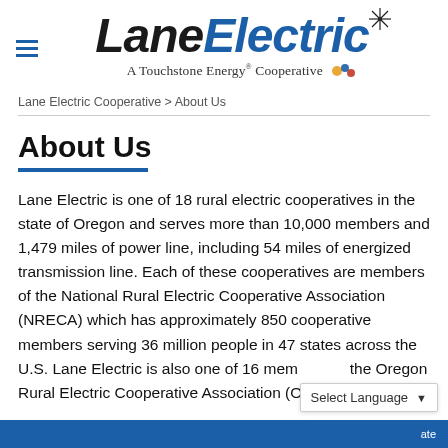[Figure (logo): Lane Electric Cooperative logo with hamburger menu icon, bold italic 'LANE ELECTRIC' text in black and blue, star graphic, and tagline 'A Touchstone Energy® Cooperative' with colorful figure icon]
Lane Electric Cooperative > About Us
About Us
Lane Electric is one of 18 rural electric cooperatives in the state of Oregon and serves more than 10,000 members and 1,479 miles of power line, including 54 miles of energized transmission line. Each of these cooperatives are members of the National Rural Electric Cooperative Association (NRECA) which has approximately 850 cooperative members serving 36 million people in 47 states across the U.S. Lane Electric is also one of 16 mem the Oregon Rural Electric Cooperative Association (ORECA)